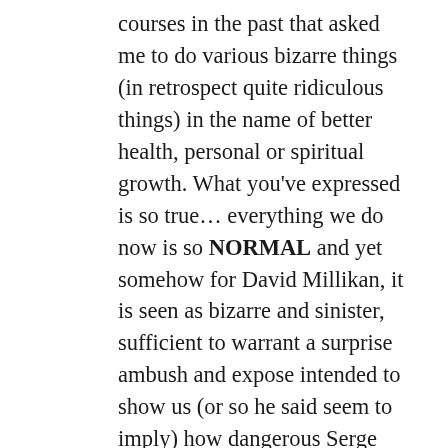courses in the past that asked me to do various bizarre things (in retrospect quite ridiculous things) in the name of better health, personal or spiritual growth. What you've expressed is so true… everything we do now is so NORMAL and yet somehow for David Millikan, it is seen as bizarre and sinister, sufficient to warrant a surprise ambush and expose intended to show us (or so he said seem to imply) how dangerous Serge Benhayon is to us and in turn, how dangerous we all are to the world as a supposed cult wreaking havoc amongst our families and friends! The fact that this couldn't be further from the truth for the vast majority of us and the fact nobody in the audience, beyond his planted minions, agreed with him I'm sure was fuel to a very clear personal agenda.